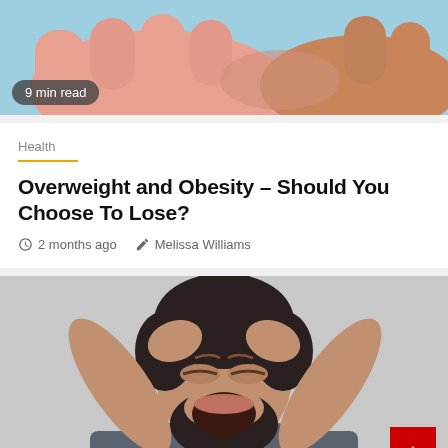[Figure (photo): Close-up of hands (pink/skin tones) on light blue background, with a '9 min read' badge overlay]
Health
Overweight and Obesity – Should You Choose To Lose?
2 months ago   Melissa Williams
[Figure (photo): Man with dark beard and hair, wearing gray t-shirt, screaming with hands on head, gray background, with '5 min read' badge overlay and red back-to-top button]
Health